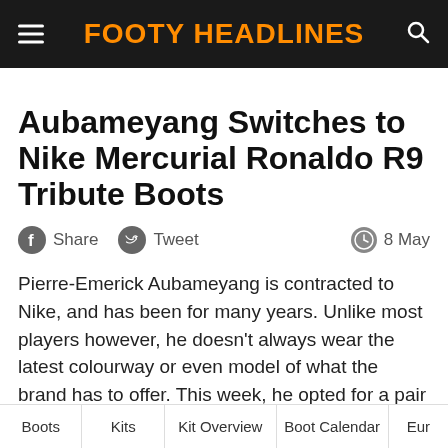FOOTY HEADLINES
Aubameyang Switches to Nike Mercurial Ronaldo R9 Tribute Boots
Share   Tweet   8 May
Pierre-Emerick Aubameyang is contracted to Nike, and has been for many years. Unlike most players however, he doesn't always wear the latest colourway or even model of what the brand has to offer. This week, he opted for a pair of Nike Mercurial Vapor XVs, released in 2013 to
Boots   Kits   Kit Overview   Boot Calendar   Eur